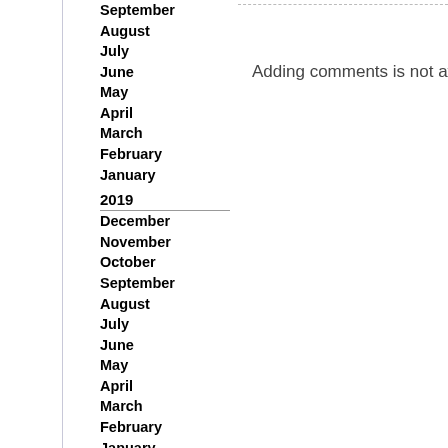September
August
July
June
May
April
March
February
January
2019
December
November
October
September
August
July
June
May
April
March
February
January
2018
December
November
October
September
August
July
June
Adding comments is not availa